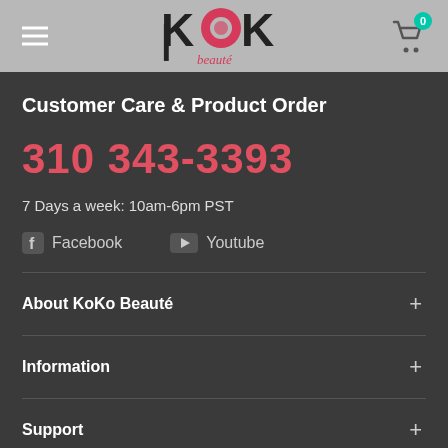KoKo Beauté — navigation header with hamburger menu and cart
Customer Care & Product Order
310 343-3393
7 Days a week: 10am-6pm PST
Facebook
Youtube
About KoKo Beauté
Information
Support